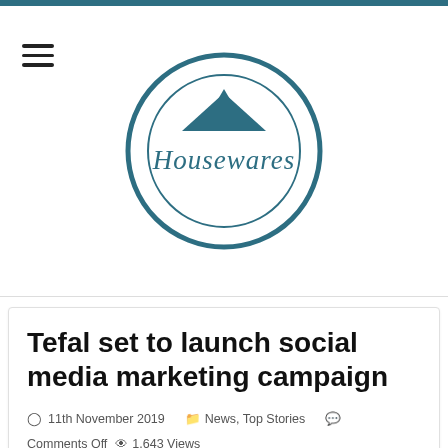[Figure (logo): Housewares logo: circular emblem with house/roof icon in teal and cursive 'Housewares' text]
Tefal set to launch social media marketing campaign
11th November 2019   News, Top Stories   Comments Off   1,643 Views